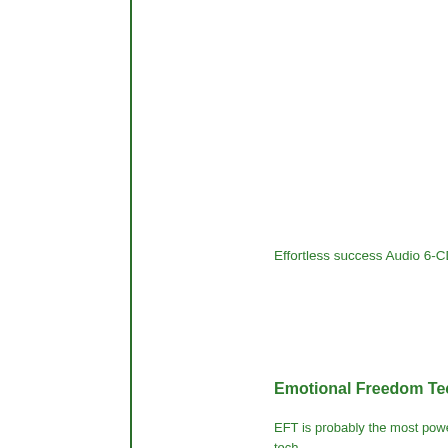Effortless success Audio 6-CD pack>>>>
Emotional Freedom Technique dvd's
EFT is probably the most powerful mind strategy tech... need for another person. It can produce great shifts in